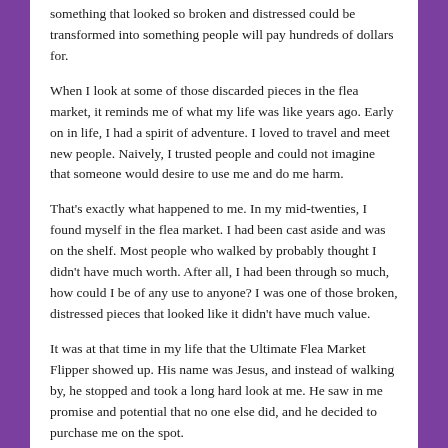something that looked so broken and distressed could be transformed into something people will pay hundreds of dollars for.
When I look at some of those discarded pieces in the flea market, it reminds me of what my life was like years ago. Early on in life, I had a spirit of adventure. I loved to travel and meet new people. Naively, I trusted people and could not imagine that someone would desire to use me and do me harm.
That's exactly what happened to me. In my mid-twenties, I found myself in the flea market. I had been cast aside and was on the shelf. Most people who walked by probably thought I didn't have much worth. After all, I had been through so much, how could I be of any use to anyone? I was one of those broken, distressed pieces that looked like it didn't have much value.
It was at that time in my life that the Ultimate Flea Market Flipper showed up. His name was Jesus, and instead of walking by, he stopped and took a long hard look at me. He saw in me promise and potential that no one else did, and he decided to purchase me on the spot.
He took me into his workshop and the first thing he did was clean me